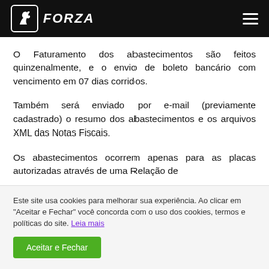FORZA
O Faturamento dos abastecimentos são feitos quinzenalmente, e o envio de boleto bancário com vencimento em 07 dias corridos.
Também será enviado por e-mail (previamente cadastrado) o resumo dos abastecimentos e os arquivos XML das Notas Fiscais.
Os abastecimentos ocorrem apenas para as placas autorizadas através de uma Relação de
Este site usa cookies para melhorar sua experiência. Ao clicar em "Aceitar e Fechar" você concorda com o uso dos cookies, termos e políticas do site. Leia mais
Aceitar e Fechar